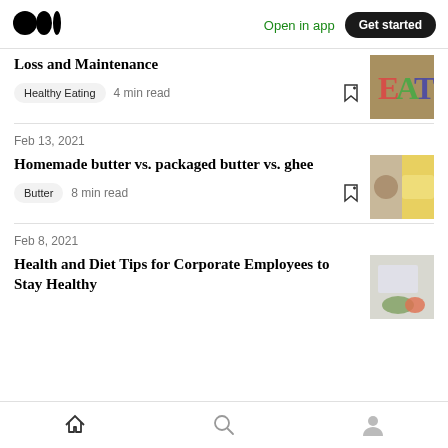Medium logo | Open in app | Get started
Loss and Maintenance
Healthy Eating  4 min read
Feb 13, 2021
Homemade butter vs. packaged butter vs. ghee
Butter  8 min read
Feb 8, 2021
Health and Diet Tips for Corporate Employees to Stay Healthy
Home | Search | Profile